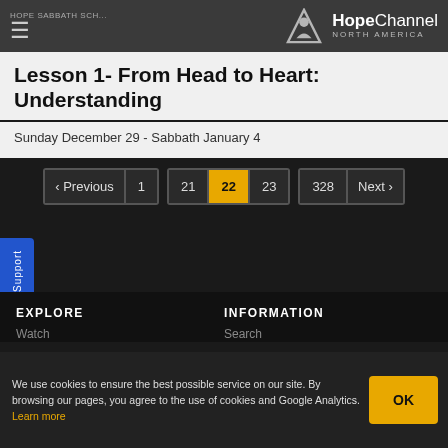HOPE SABBATH SCH... | HopeChannel NORTH AMERICA
Lesson 1- From Head to Heart: Understanding
Sunday December 29 - Sabbath January 4
< Previous  1  21  22  23  328  Next >
Support
EXPLORE
INFORMATION
Watch
Search
We use cookies to ensure the best possible service on our site. By browsing our pages, you agree to the use of cookies and Google Analytics. Learn more
OK